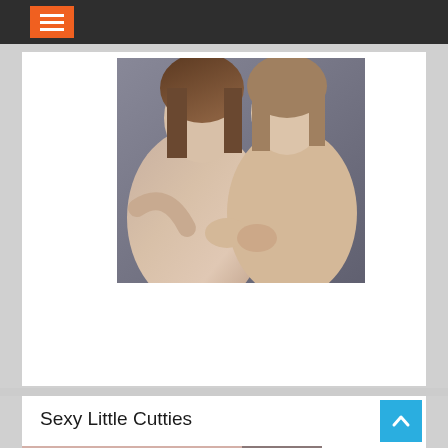[Figure (screenshot): Website navigation bar with dark background and orange hamburger menu button]
[Figure (photo): Photo of two young women, cropped from shoulders up, light skin tones]
[Figure (photo): Bottom portion of a photo showing two people with pink accessories]
Sexy Little Cutties